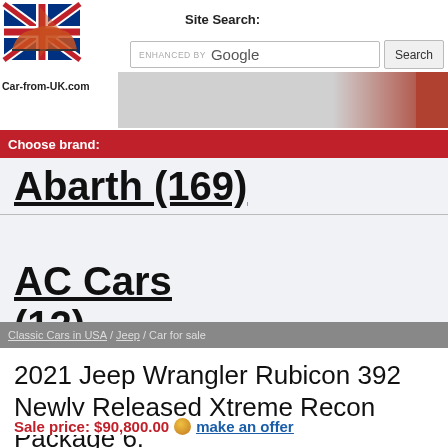[Figure (logo): Car-from-UK.com logo with British flag and car silhouette]
Site Search:
ENHANCED BY Google [Search button]
[Figure (photo): Banner image strip, partially visible car]
Choose brand:
Abarth (169)
AC Cars (12)
Classic Cars in USA / Jeep / Car for sale
2021 Jeep Wrangler Rubicon 392 Newly Released Xtreme Recon Package 6.
Sale price: $90,800.00  make an offer